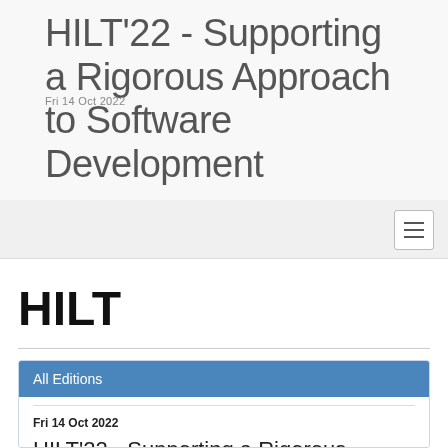HILT'22 - Supporting a Rigorous Approach to Software Development
Fri 14 Oct 2022
HILT
All Editions
Fri 14 Oct 2022
HILT'22 - Supporting a Rigorous Approach to Soft...